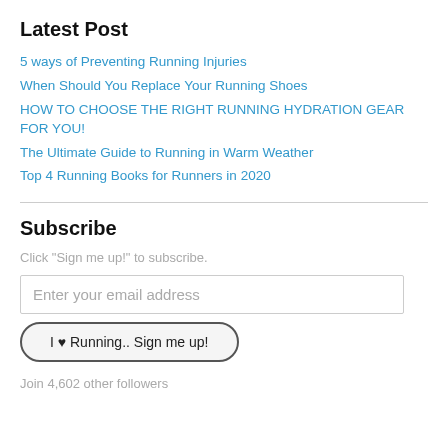Latest Post
5 ways of Preventing Running Injuries
When Should You Replace Your Running Shoes
HOW TO CHOOSE THE RIGHT RUNNING HYDRATION GEAR FOR YOU!
The Ultimate Guide to Running in Warm Weather
Top 4 Running Books for Runners in 2020
Subscribe
Click "Sign me up!" to subscribe.
Enter your email address
I ♥ Running.. Sign me up!
Join 4,602 other followers